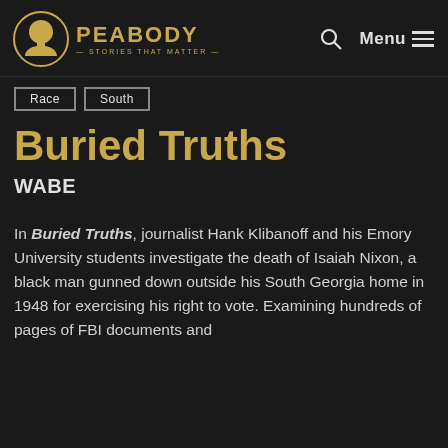PEABODY — STORIES THAT MATTER —
Race
South
Buried Truths
WABE
In Buried Truths, journalist Hank Klibanoff and his Emory University students investigate the death of Isaiah Nixon, a black man gunned down outside his South Georgia home in 1948 for exercising his right to vote. Examining hundreds of pages of FBI documents and